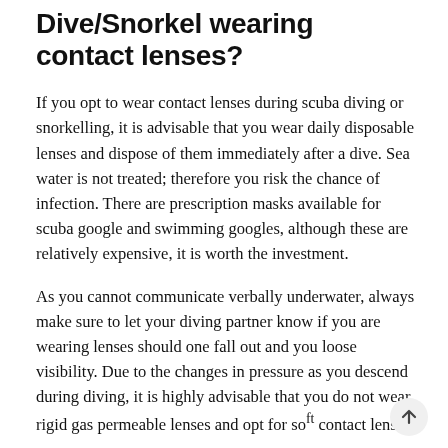Dive/Snorkel wearing contact lenses?
If you opt to wear contact lenses during scuba diving or snorkelling, it is advisable that you wear daily disposable lenses and dispose of them immediately after a dive. Sea water is not treated; therefore you risk the chance of infection. There are prescription masks available for scuba google and swimming googles, although these are relatively expensive, it is worth the investment.
As you cannot communicate verbally underwater, always make sure to let your diving partner know if you are wearing lenses should one fall out and you loose visibility. Due to the changes in pressure as you descend during diving, it is highly advisable that you do not wear rigid gas permeable lenses and opt for soft contact lenses.